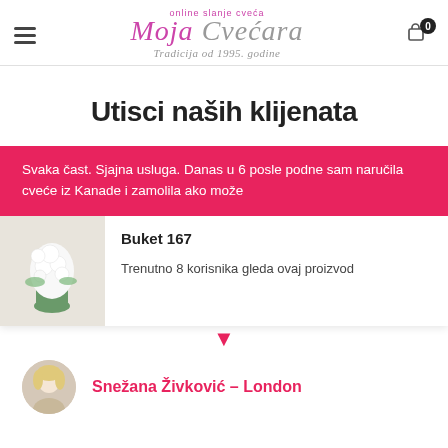Moja Cvećara — online slanje cveća — Tradicija od 1995. godine
Utisci naših klijenata
Svaka čast. Sjajna usluga. Danas u 6 posle podne sam naručila cveće iz Kanade i zamolila ako može
Buket 167
Trenutno 8 korisnika gleda ovaj proizvod
Snežana Živković – London